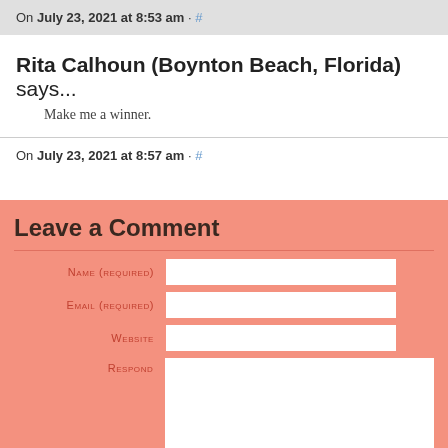On July 23, 2021 at 8:53 am · #
Rita Calhoun (Boynton Beach, Florida) says...
Make me a winner.
On July 23, 2021 at 8:57 am · #
Leave a Comment
Name (required)
Email (required)
Website
Respond